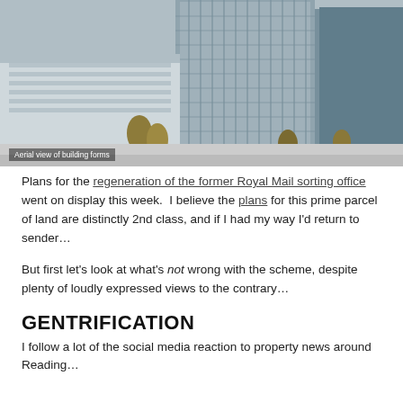[Figure (photo): Aerial view rendering of a modern mixed-use development with glass tower and surrounding buildings.]
Aerial view of building forms
Plans for the regeneration of the former Royal Mail sorting office went on display this week. I believe the plans for this prime parcel of land are distinctly 2nd class, and if I had my way I’d return to sender…
But first let’s look at what’s not wrong with the scheme, despite plenty of loudly expressed views to the contrary…
GENTRIFICATION
I follow a lot of the social media reaction to property news around Reading…